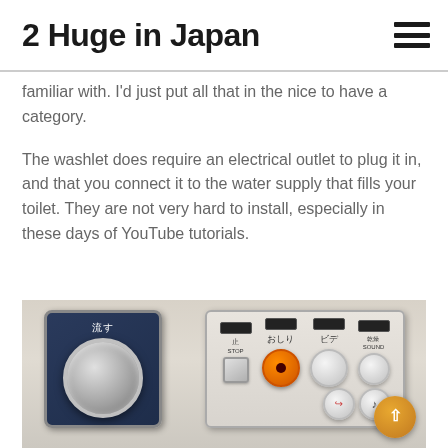2  Huge in Japan
familiar with. I'd just put all that in the nice to have a category.
The washlet does require an electrical outlet to plug it in, and that you connect it to the water supply that fills your toilet. They are not very hard to install, especially in these days of YouTube tutorials.
[Figure (photo): Two Japanese toilet washlet control panels side by side. Left panel is a dark navy blue rectangular panel with Japanese text '流す' (flush) and a large circular chrome dial/knob. Right panel is a beige/cream colored control panel with multiple buttons including an orange button, white buttons, display screens, and Japanese text labels including 'おしり', 'ビデ', and '止'.]